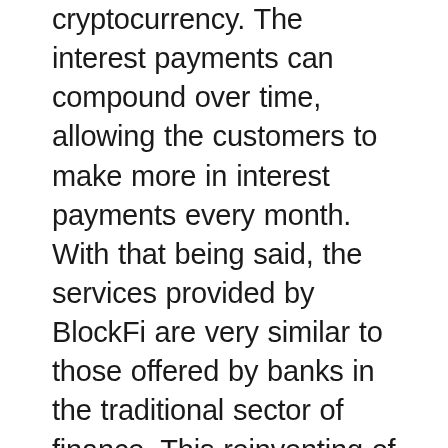cryptocurrency. The interest payments can compound over time, allowing the customers to make more in interest payments every month. With that being said, the services provided by BlockFi are very similar to those offered by banks in the traditional sector of finance. This reinventing of the wheel can be debated on whether it is a good and sustainable practice for the industry, as it is often argued that the fractional reserve methodology of banking today is partly to blame for the global economic struggles seen today.